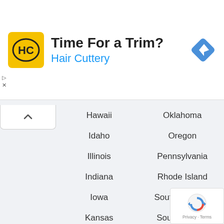[Figure (logo): Hair Cuttery advertisement banner with HC logo in yellow square, title 'Time For a Trim?', subtitle 'Hair Cuttery' in blue, and a Google Maps navigation icon]
Hawaii
Oklahoma
Idaho
Oregon
Illinois
Pennsylvania
Indiana
Rhode Island
Iowa
South Carolina
Kansas
South Dakota
Kentucky
Tennessee
Louisiana
Texas
Maine
Utah
Maryland
Vermont
Massachusetts
Virginia
Michigan
Washington